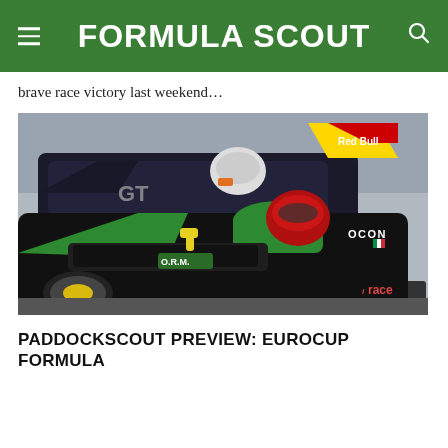FORMULA SCOUT
brave race victory last weekend…
[Figure (photo): Formula racing cars on a starting grid. Foreground: black and green open-wheel car with driver in red helmet, 'OCON' and Italian flag on bodywork, 'O.R.M.' on nosecone, irace Professional logo visible. Background: black car with white livery and Red Bull sponsor winglet with yellow/red design, driver in white helmet.]
PADDOCKSCOUT PREVIEW: EUROCUP FORMULA